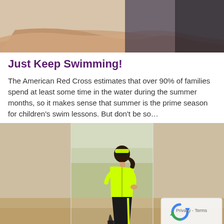[Figure (photo): Top portion showing a person lying on what appears to be a pool edge or white surface, with arm visible, and dark background on the right side]
Just Keep Swimming!
The American Red Cross estimates that over 90% of families spend at least some time in the water during the summer months, so it makes sense that summer is the prime season for children’s swim lessons. But don’t be so…
[Figure (photo): A woman wearing a neon yellow/green athletic top and black pants with a headband and sunglasses, in a lunging pose outdoors on sandy ground. The image appears as three panels (left blurred, center sharp, right blurred).]